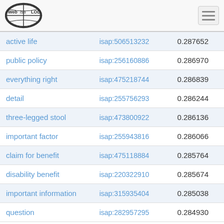Web isa LOD
| active life | isap:506513232 | 0.287652 |
| public policy | isap:256160886 | 0.286970 |
| everything right | isap:475218744 | 0.286839 |
| detail | isap:255756293 | 0.286244 |
| three-legged stool | isap:473800922 | 0.286136 |
| important factor | isap:255943816 | 0.286066 |
| claim for benefit | isap:475118884 | 0.285764 |
| disability benefit | isap:220322910 | 0.285674 |
| important information | isap:315935404 | 0.285038 |
| question | isap:282957295 | 0.284930 |